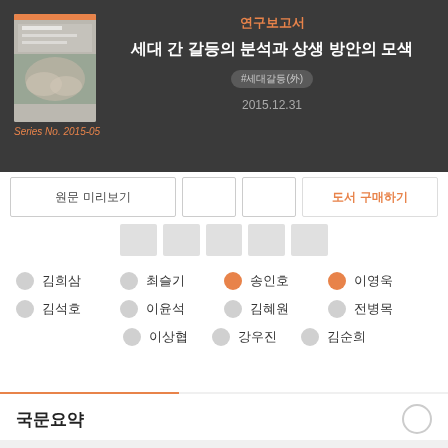[Figure (illustration): Book cover thumbnail showing hands image, dark background header with Korean text]
Series No. 2015-05
연구보고서
세대 간 갈등의 분석과 상생 방안의 모색
#세대갈등(外)
2015.12.31
원문 미리보기
도서 구매하기
김희삼  최슬기  송인호  이영욱  김석호  이윤석  김혜원  전병목  이상협  강우진  김순희